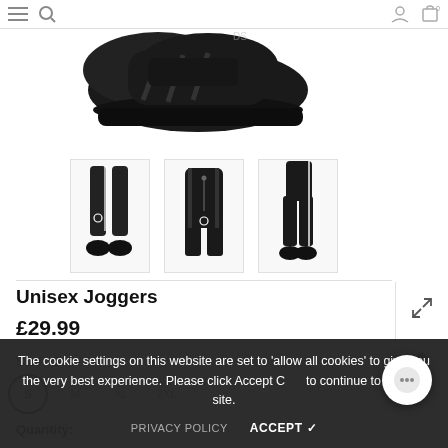Navigation bar with menu, search, account, and cart icons
[Figure (photo): Black sneakers/trainers shown from above on white background, top portion visible]
[Figure (photo): Three thumbnail product images of black jogger pants shown from different angles]
Unisex Joggers
£29.99
Size : S
S  M  XL  2XL (size selector buttons)
Quantity:
The cookie settings on this website are set to 'allow all cookies' to give you the very best experience. Please click Accept C to continue to use the site.
PRIVACY POLICY   ACCEPT ✓